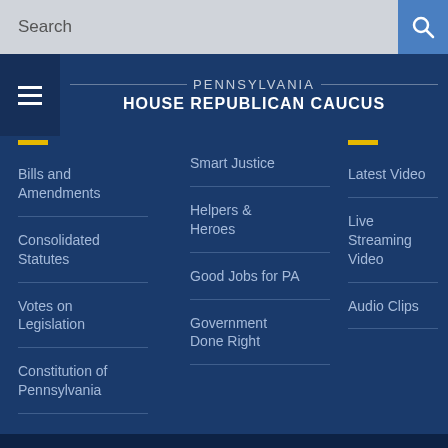Search
PENNSYLVANIA HOUSE REPUBLICAN CAUCUS
Bills and Amendments
Consolidated Statutes
Votes on Legislation
Constitution of Pennsylvania
Smart Justice
Helpers & Heroes
Good Jobs for PA
Government Done Right
Latest Video
Live Streaming Video
Audio Clips